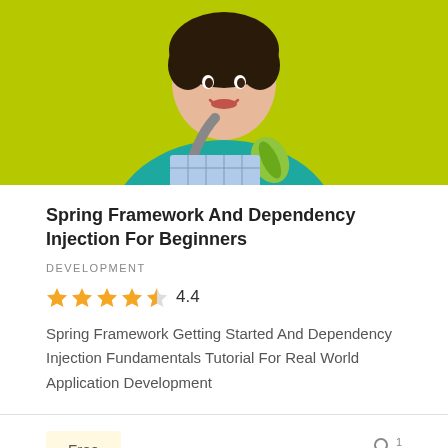[Figure (photo): Woman smiling, wearing teal t-shirt with spring leaf logo and carrying a bag strap, against a lime green background]
Spring Framework And Dependency Injection For Beginners
DEVELOPMENT
★★★★½ 4.4
Spring Framework Getting Started And Dependency Injection Fundamentals Tutorial For Real World Application Development
Free
👤¹